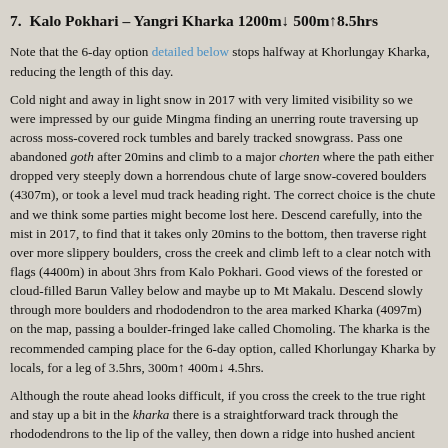7.  Kalo Pokhari – Yangri Kharka 1200m↓ 500m↑8.5hrs
Note that the 6-day option detailed below stops halfway at Khorlungay Kharka, reducing the length of this day.
Cold night and away in light snow in 2017 with very limited visibility so we were impressed by our guide Mingma finding an unerring route traversing up across moss-covered rock tumbles and barely tracked snowgrass. Pass one abandoned goth after 20mins and climb to a major chorten where the path either dropped very steeply down a horrendous chute of large snow-covered boulders (4307m), or took a level mud track heading right. The correct choice is the chute and we think some parties might become lost here. Descend carefully, into the mist in 2017, to find that it takes only 20mins to the bottom, then traverse right over more slippery boulders, cross the creek and climb left to a clear notch with flags (4400m) in about 3hrs from Kalo Pokhari. Good views of the forested or cloud-filled Barun Valley below and maybe up to Mt Makalu. Descend slowly through more boulders and rhododendron to the area marked Kharka (4097m) on the map, passing a boulder-fringed lake called Chomoling. The kharka is the recommended camping place for the 6-day option, called Khorlungay Kharka by locals, for a leg of 3.5hrs, 300m↑ 400m↓ 4.5hrs.
Although the route ahead looks difficult, if you cross the creek to the true right and stay up a bit in the kharka there is a straightforward track through the rhododendrons to the lip of the valley, then down a ridge into hushed ancient forest of spruce, soft underfoot. Continue down, muddier and wetter,